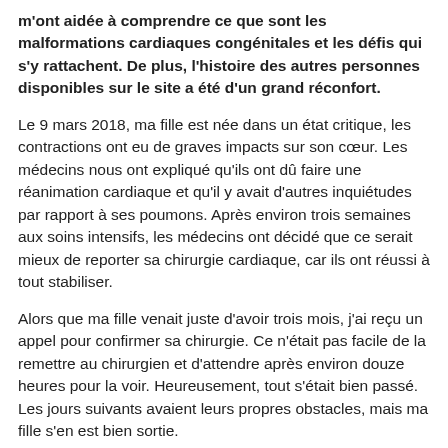m'ont aidée à comprendre ce que sont les malformations cardiaques congénitales et les défis qui s'y rattachent. De plus, l'histoire des autres personnes disponibles sur le site a été d'un grand réconfort.
Le 9 mars 2018, ma fille est née dans un état critique, les contractions ont eu de graves impacts sur son cœur. Les médecins nous ont expliqué qu'ils ont dû faire une réanimation cardiaque et qu'il y avait d'autres inquiétudes par rapport à ses poumons. Après environ trois semaines aux soins intensifs, les médecins ont décidé que ce serait mieux de reporter sa chirurgie cardiaque, car ils ont réussi à tout stabiliser.
Alors que ma fille venait juste d'avoir trois mois, j'ai reçu un appel pour confirmer sa chirurgie. Ce n'était pas facile de la remettre au chirurgien et d'attendre après environ douze heures pour la voir. Heureusement, tout s'était bien passé. Les jours suivants avaient leurs propres obstacles, mais ma fille s'en est bien sortie.
La malformation cardiaque congénitale avait aussi des conditions